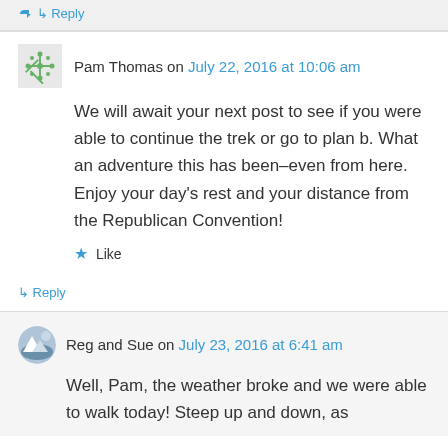↳ Reply
Pam Thomas on July 22, 2016 at 10:06 am
We will await your next post to see if you were able to continue the trek or go to plan b. What an adventure this has been–even from here. Enjoy your day's rest and your distance from the Republican Convention!
Like
↳ Reply
Reg and Sue on July 23, 2016 at 6:41 am
Well, Pam, the weather broke and we were able to walk today! Steep up and down, as